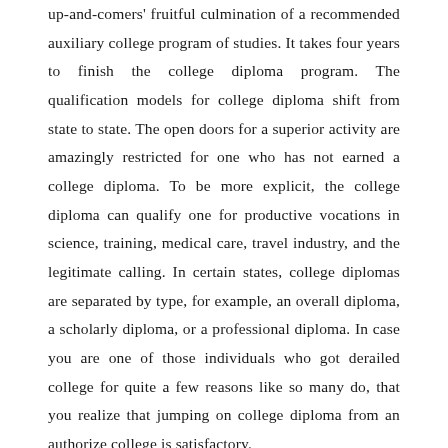up-and-comers' fruitful culmination of a recommended auxiliary college program of studies. It takes four years to finish the college diploma program. The qualification models for college diploma shift from state to state. The open doors for a superior activity are amazingly restricted for one who has not earned a college diploma. To be more explicit, the college diploma can qualify one for productive vocations in science, training, medical care, travel industry, and the legitimate calling. In certain states, college diplomas are separated by type, for example, an overall diploma, a scholarly diploma, or a professional diploma. In case you are one of those individuals who got derailed college for quite a few reasons like so many do, that you realize that jumping on college diploma from an authorize college is satisfactory.
College diploma is viewed as the base confirmation necessity for post-auxiliary training programs. While applying for a green card, a college diploma is an important resource for foreigners into the